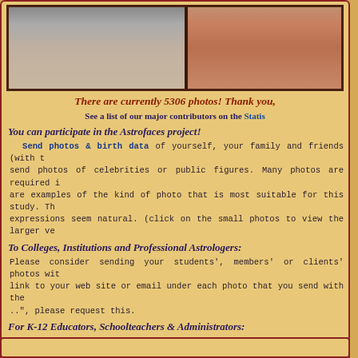[Figure (photo): Cropped photo strip showing partial faces/neck area of people]
There are currently 5306 photos! Thank you,
See a list of our major contributors on the Statis
You can participate in the Astrofaces project!
Send photos & birth data of yourself, your family and friends (with t send photos of celebrities or public figures. Many photos are required i are examples of the kind of photo that is most suitable for this study. Th expressions seem natural. (click on the small photos to view the larger ve
To Colleges, Institutions and Professional Astrologers:
Please consider sending your students', members' or clients' photos wit link to your web site or email under each photo that you send with the ...", please request this.
For K-12 Educators, Schoolteachers & Administrators:
If you or your friends work in children's education or if you would lik please visit the site for our Altissima Groupings, a system for grouping We offer three free demonstration classes to every school before the first We are looking for Liaisons. See the web site for details. (www.altissimagroupings.com)